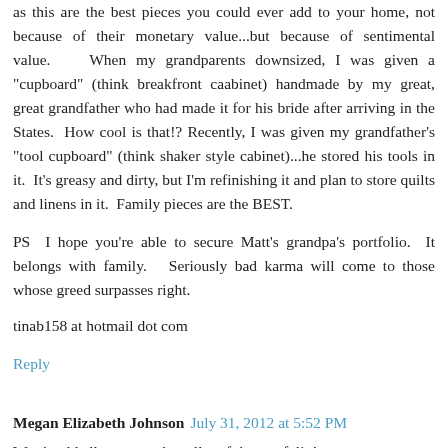as this are the best pieces you could ever add to your home, not because of their monetary value...but because of sentimental value.   When my grandparents downsized, I was given a "cupboard" (think breakfront caabinet) handmade by my great, great grandfather who had made it for his bride after arriving in the States.  How cool is that!?  Recently, I was given my grandfather's "tool cupboard" (think shaker style cabinet)...he stored his tools in it.  It's greasy and dirty, but I'm refinishing it and plan to store quilts and linens in it.  Family pieces are the BEST.
PS  I hope you're able to secure Matt's grandpa's portfolio.  It belongs with family.  Seriously bad karma will come to those whose greed surpasses right.
tinab158 at hotmail dot com
Reply
Megan Elizabeth Johnson  July 31, 2012 at 5:52 PM
We should all message the seller of the portfolio!